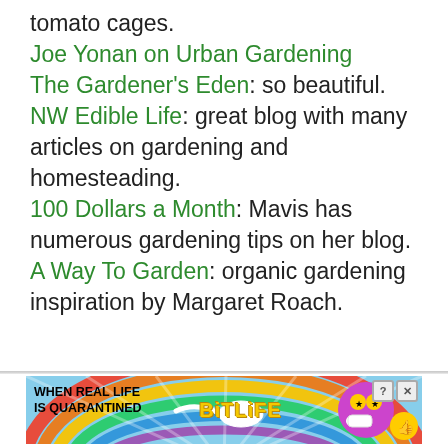tomato cages. Joe Yonan on Urban Gardening The Gardener's Eden: so beautiful. NW Edible Life: great blog with many articles on gardening and homesteading. 100 Dollars a Month: Mavis has numerous gardening tips on her blog. A Way To Garden: organic gardening inspiration by Margaret Roach.
[Figure (other): Advertisement banner for BitLife mobile game reading 'WHEN REAL LIFE IS QUARANTINED' with rainbow background, mascot emoji character, and close button]